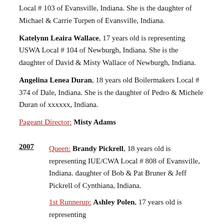Local # 103 of Evansville, Indiana. She is the daughter of Michael & Carrie Turpen of Evansville, Indiana.
Katelynn Leaira Wallace, 17 years old is representing USWA Local # 104 of Newburgh, Indiana. She is the daughter of David & Misty Wallace of Newburgh, Indiana.
Angelina Lenea Duran, 18 years old Boilermakers Local # 374 of Dale, Indiana. She is the daughter of Pedro & Michele Duran of xxxxxx, Indiana.
Pageant Director: Misty Adams
2007 Queen: Brandy Pickrell, 18 years old is representing IUE/CWA Local # 808 of Evansville, Indiana. daughter of Bob & Pat Bruner & Jeff Pickrell of Cynthiana, Indiana.
1st Runnerup: Ashley Polen, 17 years old is representing